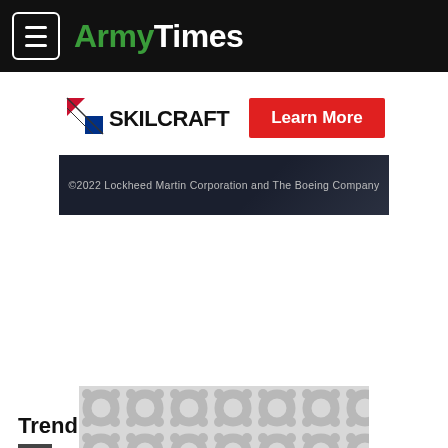ArmyTimes
[Figure (logo): SKILCRAFT logo with diagonal flag/stripe icon and 'Learn More' red button]
[Figure (photo): Dark background image with text: ©2022 Lockheed Martin Corporation and The Boeing Company]
Trending Now
Soldier indicted for selling 3D-printed automatic weapon
[Figure (other): Advertisement placeholder with grey spinner/loading pattern]